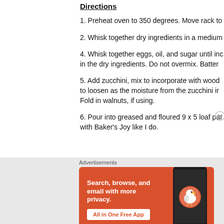Directions
1. Preheat oven to 350 degrees. Move rack to
2. Whisk together dry ingredients in a medium
4. Whisk together eggs, oil, and sugar until inc in the dry ingredients. Do not overmix. Batter
5. Add zucchini, mix to incorporate with wood to loosen as the moisture from the zucchini ir Fold in walnuts, if using.
6. Pour into greased and floured 9 x 5 loaf par with Baker's Joy like I do.
[Figure (screenshot): DuckDuckGo advertisement banner: orange background with text 'Search, browse, and email with more privacy. All in One Free App' and DuckDuckGo logo on a phone graphic]